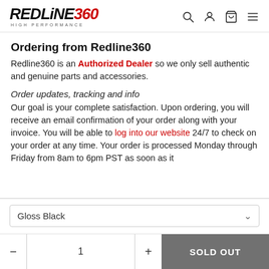REDLINE360 HIGH PERFORMANCE [logo with search, account, cart, menu icons]
Ordering from Redline360
Redline360 is an Authorized Dealer so we only sell authentic and genuine parts and accessories.
Order updates, tracking and info
Our goal is your complete satisfaction. Upon ordering, you will receive an email confirmation of your order along with your invoice. You will be able to log into our website 24/7 to check on your order at any time. Your order is processed Monday through Friday from 8am to 6pm PST as soon as it
Gloss Black
- 1 + SOLD OUT